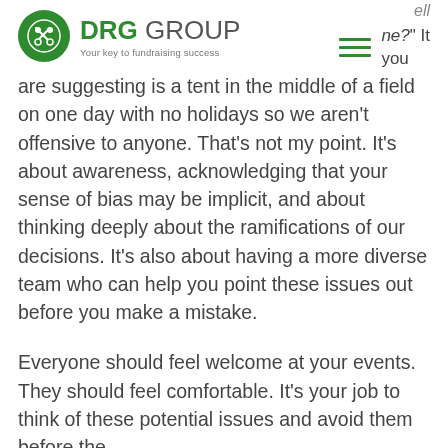DRG GROUP - Your key to fundraising success
are suggesting is a tent in the middle of a field on one day with no holidays so we aren't offensive to anyone. That's not my point. It's about awareness, acknowledging that your sense of bias may be implicit, and about thinking deeply about the ramifications of our decisions. It's also about having a more diverse team who can help you point these issues out before you make a mistake.
Everyone should feel welcome at your events. They should feel comfortable. It's your job to think of these potential issues and avoid them before the